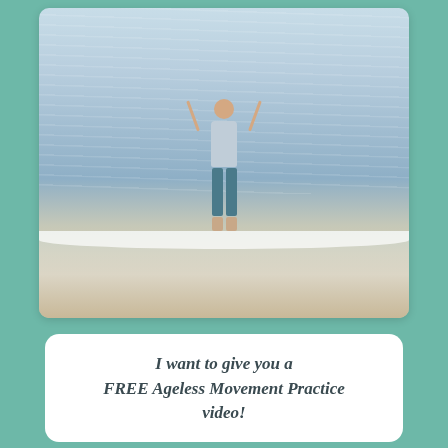[Figure (photo): A woman standing in shallow ocean water with her arms raised above her head, wearing a light blue sleeveless top and teal/blue capri pants. She appears joyful. The background shows ocean waves and water.]
I want to give you a FREE Ageless Movement Practice video!